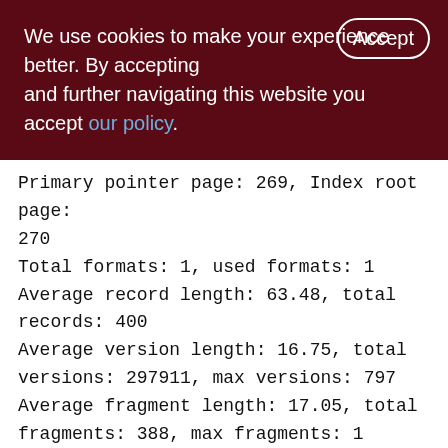We use cookies to make your experience better. By accepting and further navigating this website you accept our policy.
Primary pointer page: 269, Index root page: 270
Total formats: 1, used formats: 1
Average record length: 63.48, total records: 400
Average version length: 16.75, total versions: 297911, max versions: 797
Average fragment length: 17.05, total fragments: 388, max fragments: 1
Average unpacked length: 104.00, compression ratio: 1.64
Pointer pages: 1, data page slots: 1624